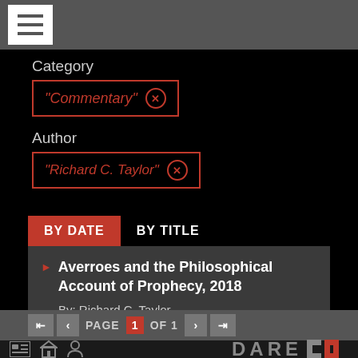Menu (hamburger button)
Category
"Commentary" ⊗
Author
"Richard C. Taylor" ⊗
BY DATE   BY TITLE
Averroes and the Philosophical Account of Prophecy, 2018
By: Richard C. Taylor
PAGE 1 OF 1
DARE